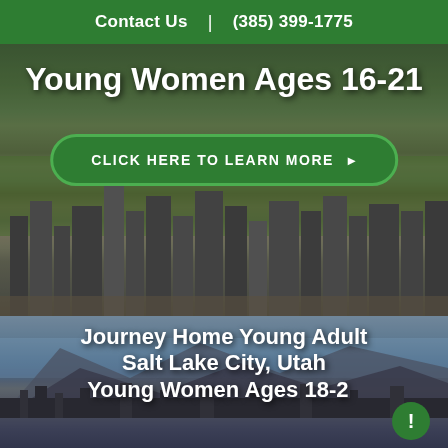Contact Us | (385) 399-1775
Young Women Ages 16-21
CLICK HERE TO LEARN MORE →
[Figure (photo): Aerial cityscape photo of Salt Lake City with buildings, trees, and urban infrastructure]
Journey Home Young Adult Salt Lake City, Utah Young Women Ages 18-25
[Figure (photo): Mountain and city skyline panorama of Salt Lake City with mountains in background]